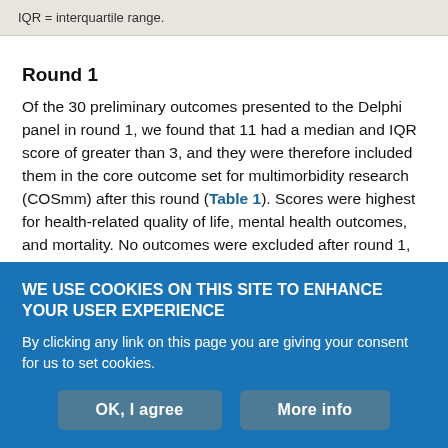IQR = interquartile range.
Round 1
Of the 30 preliminary outcomes presented to the Delphi panel in round 1, we found that 11 had a median and IQR score of greater than 3, and they were therefore included them in the core outcome set for multimorbidity research (COSmm) after this round (Table 1). Scores were highest for health-related quality of life, mental health outcomes, and mortality. No outcomes were excluded after round 1, and no additional outcomes were identified. A descriptive list of the potential metrics for measuring outcomes identified during round 1 is
WE USE COOKIES ON THIS SITE TO ENHANCE YOUR USER EXPERIENCE
By clicking any link on this page you are giving your consent for us to set cookies.